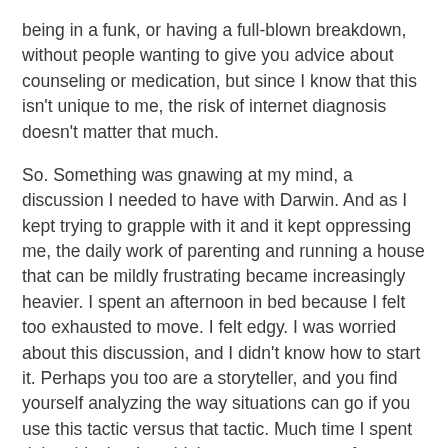being in a funk, or having a full-blown breakdown, without people wanting to give you advice about counseling or medication, but since I know that this isn't unique to me, the risk of internet diagnosis doesn't matter that much.
So. Something was gnawing at my mind, a discussion I needed to have with Darwin. And as I kept trying to grapple with it and it kept oppressing me, the daily work of parenting and running a house that can be mildly frustrating became increasingly heavier. I spent an afternoon in bed because I felt too exhausted to move. I felt edgy. I was worried about this discussion, and I didn't know how to start it. Perhaps you too are a storyteller, and you find yourself analyzing the way situations can go if you use this tactic versus that tactic. Much time I spent doing this, but I couldn't see any way out of my dilemma that didn't involve making a painful hole in my marriage. I knew that there must be grace out there, and I prayed and prayed, constantly, as it seemed. And yet I sunk deeper, so deep that I was on the verge of tears all day, and I almost couldn't bear to see Darwin, because I couldn't show the slightest bit of vulnerability without blowing myself apart. Once or twice I tried, but I wasn't capable of making